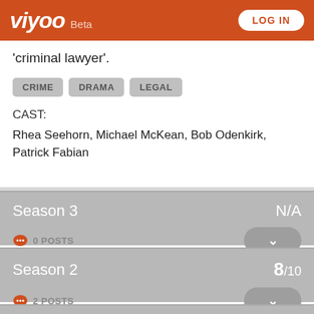viyoo Beta | LOG IN
'criminal lawyer'.
CRIME
DRAMA
LEGAL
CAST:
Rhea Seehorn, Michael McKean, Bob Odenkirk, Patrick Fabian
Season 3  N/A
0 POSTS
Season 2  8/10
2 POSTS
Season 1  8.3/10
36 POSTS